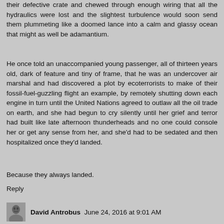their defective crate and chewed through enough wiring that all the hydraulics were lost and the slightest turbulence would soon send them plummeting like a doomed lance into a calm and glassy ocean that might as well be adamantium.
He once told an unaccompanied young passenger, all of thirteen years old, dark of feature and tiny of frame, that he was an undercover air marshal and had discovered a plot by ecoterrorists to make of their fossil-fuel-guzzling flight an example, by remotely shutting down each engine in turn until the United Nations agreed to outlaw all the oil trade on earth, and she had begun to cry silently until her grief and terror had built like late afternoon thunderheads and no one could console her or get any sense from her, and she'd had to be sedated and then hospitalized once they'd landed.
Because they always landed.
Reply
David Antrobus   June 24, 2016 at 9:01 AM